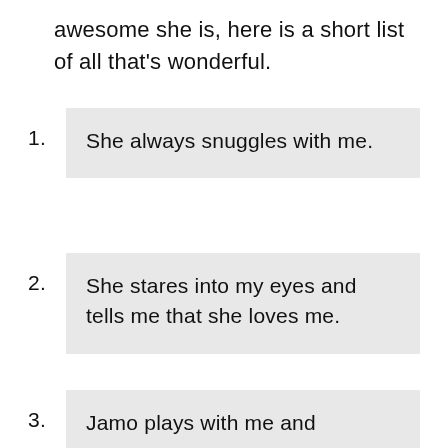awesome she is, here is a short list of all that's wonderful.
She always snuggles with me.
She stares into my eyes and tells me that she loves me.
Jamo plays with me and